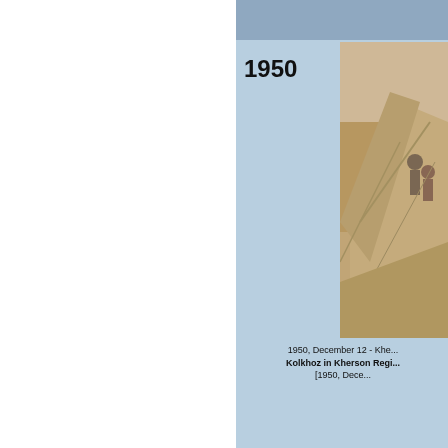1950
[Figure (photo): Sepia-toned historical photograph showing people working near a tent or large canvas structure in an open field, related to Kolkhoz (collective farm) in Kherson Region, 1950.]
1950, December 12 - Khe... Kolkhoz in Kherson Regi... [1950, Dece...
1951
[Figure (photo): Black and white photograph showing protest signs reading 'GROMYKO! IN LUXURY! HUNGARIANS IN SLAVERY!', 'GROMYKO! MUCH BLOOD MONEY STOP DEPORTATION HUNGARY', 'DO...', 'GROMYKO! Have You Released...', 'SLAVE LABOR PAID FOR YOUR...' - a protest against Soviet deportations.]